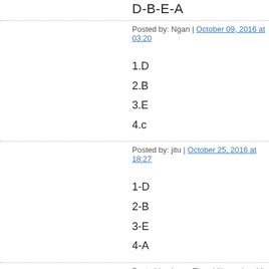D-B-E-A
Posted by: Ngan | October 09, 2016 at 03:20
1.D
2.B
3.E
4.c
Posted by: jitu | October 25, 2016 at 18:27
1-D
2-B
3-E
4-A
Posted by: LuongThao | November 11, 2016 at 16:
1D
2B
3E
4A